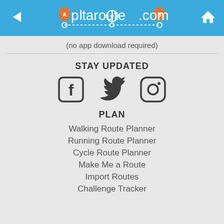plotaroute.com
(no app download required)
STAY UPDATED
[Figure (illustration): Three social media icons: Facebook, Twitter, Instagram]
PLAN
Walking Route Planner
Running Route Planner
Cycle Route Planner
Make Me a Route
Import Routes
Challenge Tracker